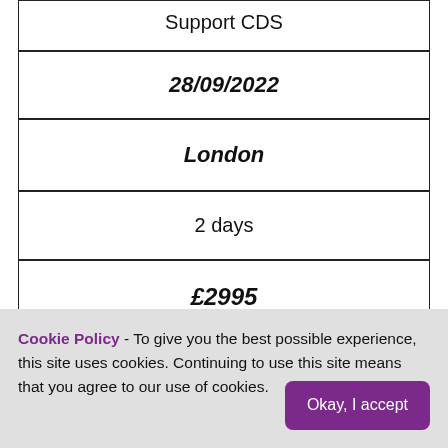| Support CDS |
| 28/09/2022 |
| London |
| 2 days |
| £2995 |
| ADD TO CART / ENQUIRE |
Cookie Policy - To give you the best possible experience, this site uses cookies. Continuing to use this site means that you agree to our use of cookies. Okay, I accept